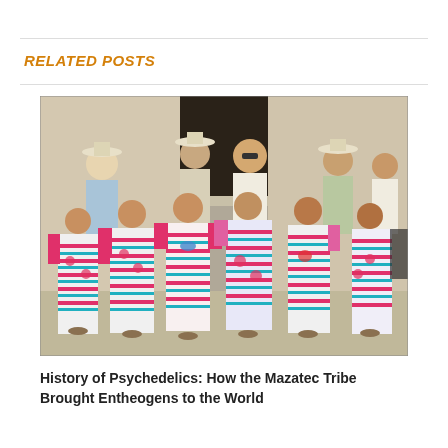RELATED POSTS
[Figure (photo): Group photo of Mazatec women in traditional colorful embroidered dresses with striped patterns and floral embroidery, accompanied by men in white shirts and straw hats, posed together outdoors.]
History of Psychedelics: How the Mazatec Tribe Brought Entheogens to the World